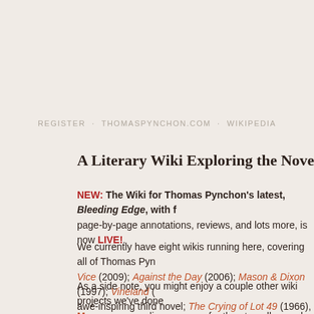REGISTER · THOMASPYNCHON.COM · WIKIPEDIA
A Literary Wiki Exploring the Novels of Thomas P
NEW: The Wiki for Thomas Pynchon's latest, Bleeding Edge, with full page-by-page annotations, reviews, and lots more, is now LIVE!.
We currently have eight wikis running here, covering all of Thomas Pyn... Vice (2009); Against the Day (2006); Mason & Dixon (1997); Vineland (...) awe-inspiring third novel; The Crying of Lot 49 (1966), Pynchon's seco...
As a side note, you might enjoy a couple other wiki projects we've done... More, an expanding resource for the eternally popular Beatles, as well... Jest which is already quite extensive, with loads of great information. A... Com...